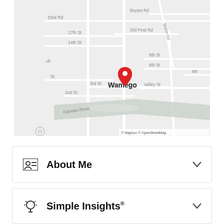[Figure (map): Street map of Wamego area showing roads including Ebel Rd, Bryant Rd, Old Post Rd, Walsh Rd, 17th St, 14th St, 8th St, 6th St, 3rd St, 2nd St, Valley St, Kansas River, with a red map pin marker over Wamego label. Map attribution: © Mapbox © OpenStreetMap]
About Me
Simple Insights®